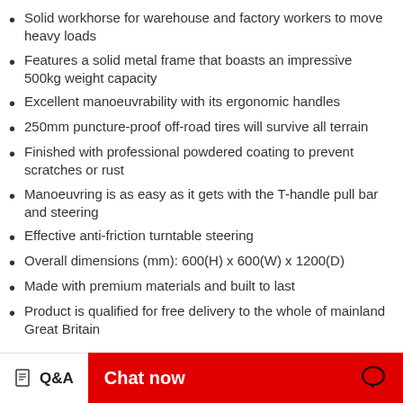Solid workhorse for warehouse and factory workers to move heavy loads
Features a solid metal frame that boasts an impressive 500kg weight capacity
Excellent manoeuvrability with its ergonomic handles
250mm puncture-proof off-road tires will survive all terrain
Finished with professional powdered coating to prevent scratches or rust
Manoeuvring is as easy as it gets with the T-handle pull bar and steering
Effective anti-friction turntable steering
Overall dimensions (mm): 600(H) x 600(W) x 1200(D)
Made with premium materials and built to last
Product is qualified for free delivery to the whole of mainland Great Britain
Q&A  Chat now